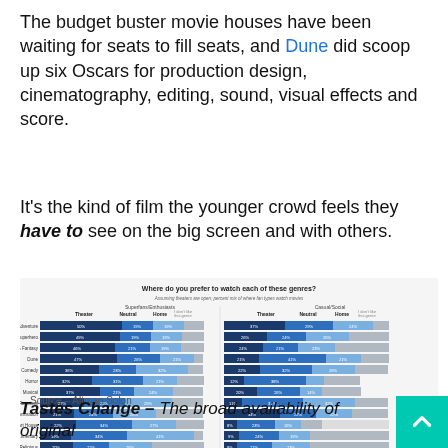The budget buster movie houses have been waiting for seats to fill seats, and Dune did scoop up six Oscars for production design, cinematography, editing, sound, visual effects and score.
It's the kind of film the younger crowd feels they have to see on the big screen and with others.
[Figure (stacked-bar-chart): Stacked bar chart showing percentage mix of theater/neutral/home preferences for genres like Action & Adventure, Superhero, Sci-Fi & Fantasy, Dune, Comedy, Horror, Musical, Romance, Kids & Animation, Art House, Documentary, Religious — split by Superfans/Enthusiasts and Casual/Social viewers. Source: Altman Solon.]
Source – Altman Solon
Tastes Change – The broad availability of original